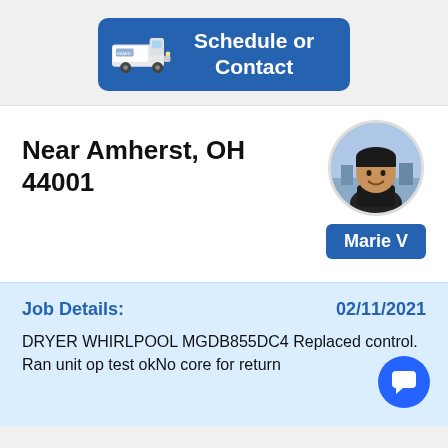[Figure (screenshot): Blue button with a service van icon on the left and 'Schedule or Contact' text in white on the right]
Near Amherst, OH 44001
[Figure (photo): Circular profile photo of a technician named Marie V, with a city skyline background]
Marie V
Job Details:   02/11/2021
DRYER WHIRLPOOL MGDB855DC4 Replaced control. Ran unit op test okNo core for return